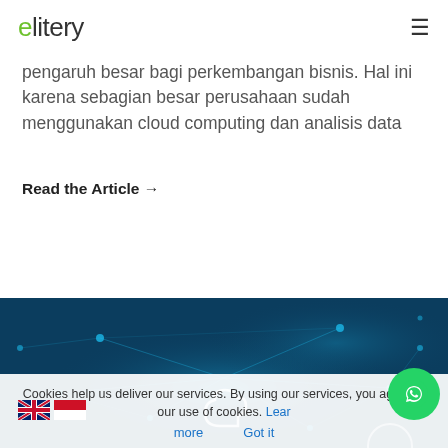elitery
pengaruh besar bagi perkembangan bisnis. Hal ini karena sebagian besar perusahaan sudah menggunakan cloud computing dan analisis data
Read the Article →
[Figure (illustration): Dark blue cloud computing network illustration with glowing nodes and connections, featuring a cloud icon in the center against a deep teal/navy background]
Cookies help us deliver our services. By using our services, you agree to our use of cookies. Learn more  Got it